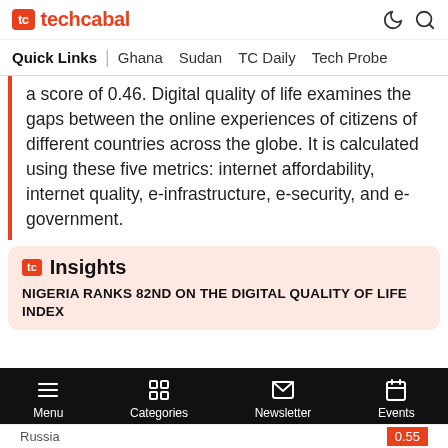tc techcabal
Quick Links | Ghana  Sudan  TC Daily  Tech Probe
a score of 0.46. Digital quality of life examines the gaps between the online experiences of citizens of different countries across the globe. It is calculated using these five metrics: internet affordability, internet quality, e-infrastructure, e-security, and e-government.
tc Insights
NIGERIA RANKS 82ND ON THE DIGITAL QUALITY OF LIFE INDEX
Menu  Categories  Newsletter  Events
Russia  0.55